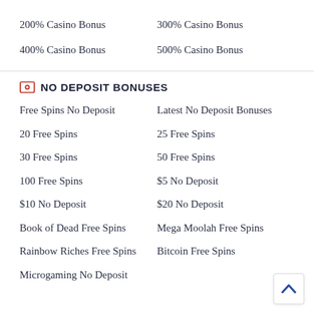200% Casino Bonus
300% Casino Bonus
400% Casino Bonus
500% Casino Bonus
NO DEPOSIT BONUSES
Free Spins No Deposit
Latest No Deposit Bonuses
20 Free Spins
25 Free Spins
30 Free Spins
50 Free Spins
100 Free Spins
$5 No Deposit
$10 No Deposit
$20 No Deposit
Book of Dead Free Spins
Mega Moolah Free Spins
Rainbow Riches Free Spins
Bitcoin Free Spins
Microgaming No Deposit